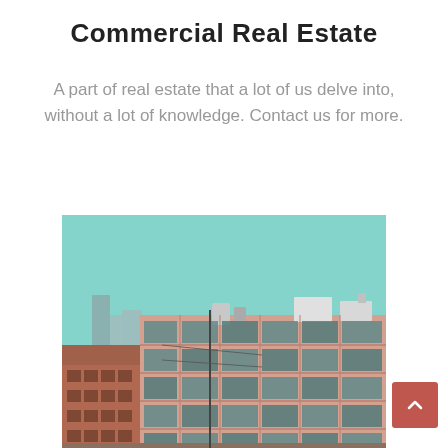Commercial Real Estate
A part of real estate that a lot of us delve into, without a lot of knowledge. Contact us for more.
[Figure (photo): Photograph of commercial real estate buildings including a multi-story brick building with large windows and city skyline in background under a teal sky.]